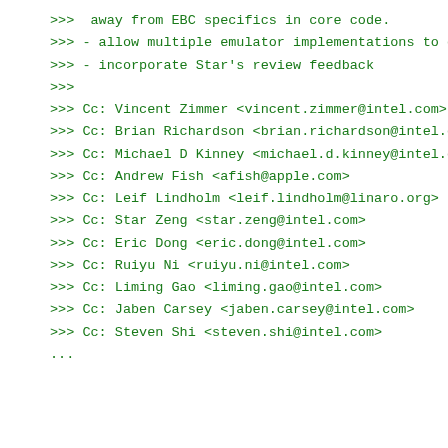>>>  away from EBC specifics in core code.
>>> - allow multiple emulator implementations to co-e
>>> - incorporate Star's review feedback
>>>
>>> Cc: Vincent Zimmer <vincent.zimmer@intel.com>
>>> Cc: Brian Richardson <brian.richardson@intel.com>
>>> Cc: Michael D Kinney <michael.d.kinney@intel.com>
>>> Cc: Andrew Fish <afish@apple.com>
>>> Cc: Leif Lindholm <leif.lindholm@linaro.org>
>>> Cc: Star Zeng <star.zeng@intel.com>
>>> Cc: Eric Dong <eric.dong@intel.com>
>>> Cc: Ruiyu Ni <ruiyu.ni@intel.com>
>>> Cc: Liming Gao <liming.gao@intel.com>
>>> Cc: Jaben Carsey <jaben.carsey@intel.com>
>>> Cc: Steven Shi <steven.shi@intel.com>
...